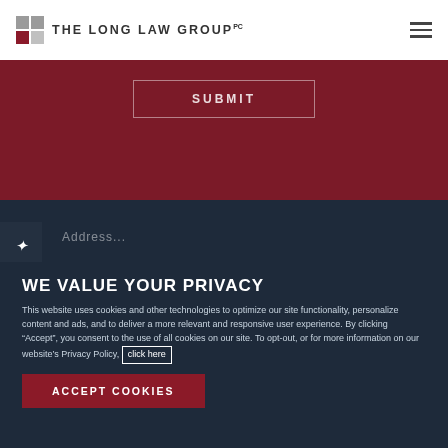[Figure (logo): The Long Law Group PC logo with colored square grid and uppercase text]
SUBMIT
Address
WE VALUE YOUR PRIVACY
This website uses cookies and other technologies to optimize our site functionality, personalize content and ads, and to deliver a more relevant and responsive user experience. By clicking “Accept”, you consent to the use of all cookies on our site. To opt-out, or for more information on our website’s Privacy Policy, click here
ACCEPT COOKIES